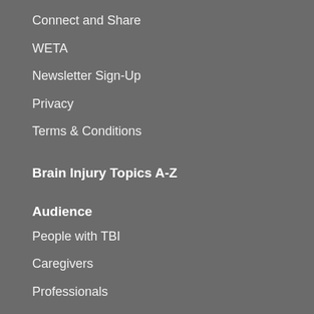Connect and Share
WETA
Newsletter Sign-Up
Privacy
Terms & Conditions
Brain Injury Topics A-Z
Audience
People with TBI
Caregivers
Professionals
Military & Veterans
Kids with TBI
Features